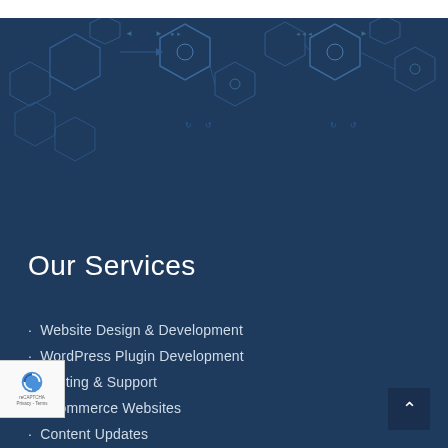[Figure (illustration): Dark blue background with hexagonal tech/circuit diagram pattern at the top, showing interconnected hexagons with small icons and arrows, representing a technology theme]
Our Services
• Website Design & Development
• WordPress Plugin Development
• Hosting & Support
• eCommerce Websites
• Content Updates